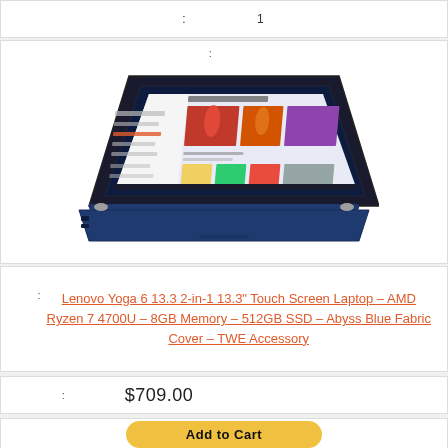: 1
[Figure (photo): Lenovo Yoga 6 2-in-1 laptop with blue fabric cover, screen showing recommended content in Windows UI, photographed at an angle with the lid open]
: Lenovo Yoga 6 13.3 2-in-1 13.3" Touch Screen Laptop – AMD Ryzen 7 4700U – 8GB Memory – 512GB SSD – Abyss Blue Fabric Cover – TWE Accessory
: $709.00
Add to Cart